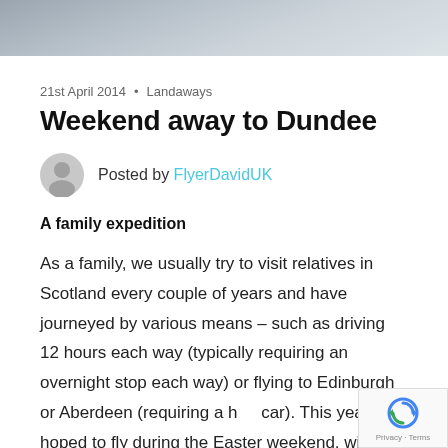[Figure (photo): Partial photo at top of page, grayscale/muted tones, appears to show an aircraft or similar subject, cropped to a horizontal strip]
21st April 2014  •  Landaways
Weekend away to Dundee
Posted by FlyerDavidUK
A family expedition
As a family, we usually try to visit relatives in Scotland every couple of years and have journeyed by various means – such as driving 12 hours each way (typically requiring an overnight stop each way) or flying to Edinburgh or Aberdeen (requiring a hire car). This year I hoped to fly during the Easter weekend, with a backup plan to drive if the weather